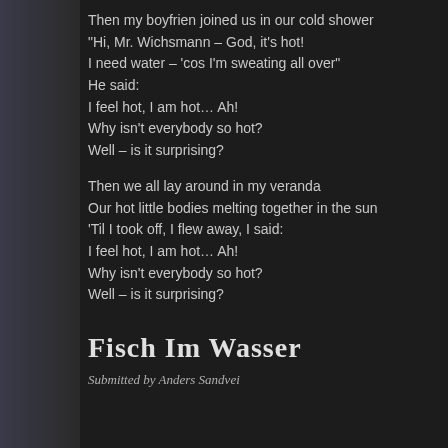Then my boyfrien joined us in our cold shower
"Hi, Mr. Wichsmann – God, it's hot!
I need water – 'cos I'm sweating all over"
He said:
I feel hot, I am hot… Ah!
Why isn't everybody so hot?
Well – is it surprising?

Then we all lay around in my veranda
Our hot little bodies melting together in the sun
'Til I took off, I flew away, I said:
I feel hot, I am hot… Ah!
Why isn't everybody so hot?
Well – is it surprising?
Fisch Im Wasser
Submitted by Anders Sandvei